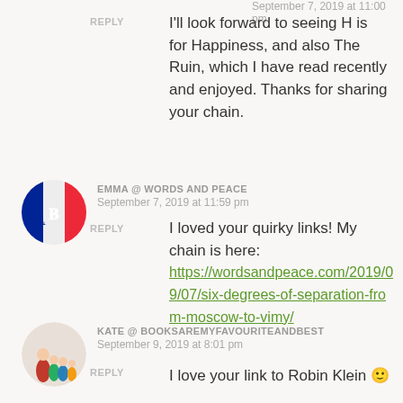September 7, 2019 at 11:00 pm
REPLY
I'll look forward to seeing H is for Happiness, and also The Ruin, which I have read recently and enjoyed. Thanks for sharing your chain.
EMMA @ WORDS AND PEACE
September 7, 2019 at 11:59 pm
REPLY
I loved your quirky links! My chain is here: https://wordsandpeace.com/2019/09/07/six-degrees-of-separation-from-moscow-to-vimy/
KATE @ BOOKSAREMYFAVOURITEANDBEST
September 9, 2019 at 8:01 pm
REPLY
I love your link to Robin Klein 🙂